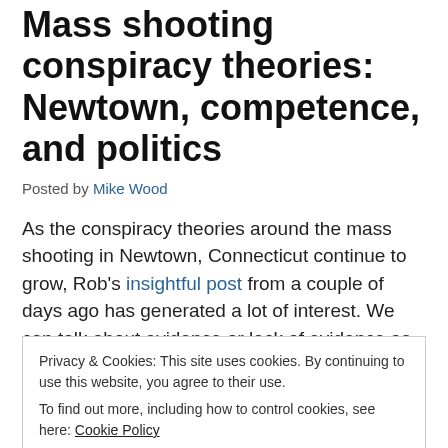Mass shooting conspiracy theories: Newtown, competence, and politics
Posted by Mike Wood
As the conspiracy theories around the mass shooting in Newtown, Connecticut continue to grow, Rob's insightful post from a couple of days ago has generated a lot of interest. We can talk about evidence or lack of evidence as much as we like, but ultimately, as with other mass killings like the Aurora shooting and Norway
Privacy & Cookies: This site uses cookies. By continuing to use this website, you agree to their use.
To find out more, including how to control cookies, see here: Cookie Policy
Close and accept
This is a very complex question, but one way to approach